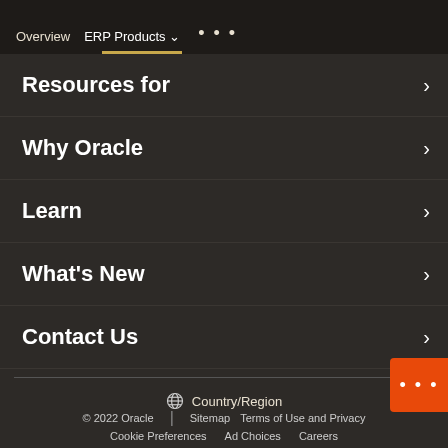Overview  ERP Products ▾  •••
Resources for
Why Oracle
Learn
What's New
Contact Us
Country/Region
© 2022 Oracle  |  Sitemap  Terms of Use and Privacy  Cookie Preferences  Ad Choices  Careers